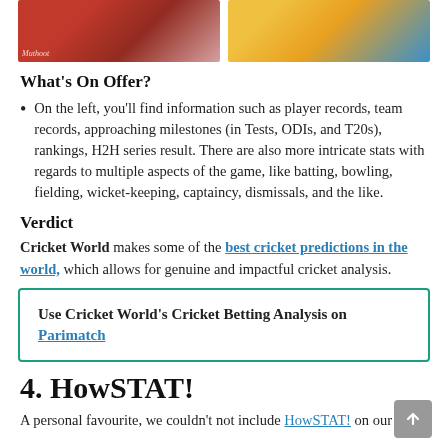[Figure (photo): Two cricket photos side by side: left shows a player in red/black RCB jersey with Muthoot branding; right shows a player in yellow CSK jersey bowling against a blue-jersey batsman.]
What's On Offer?
On the left, you'll find information such as player records, team records, approaching milestones (in Tests, ODIs, and T20s), rankings, H2H series result. There are also more intricate stats with regards to multiple aspects of the game, like batting, bowling, fielding, wicket-keeping, captaincy, dismissals, and the like.
Verdict
Cricket World makes some of the best cricket predictions in the world, which allows for genuine and impactful cricket analysis.
Use Cricket World's Cricket Betting Analysis on Parimatch
4. HowSTAT!
A personal favourite, we couldn't not include HowSTAT! on our